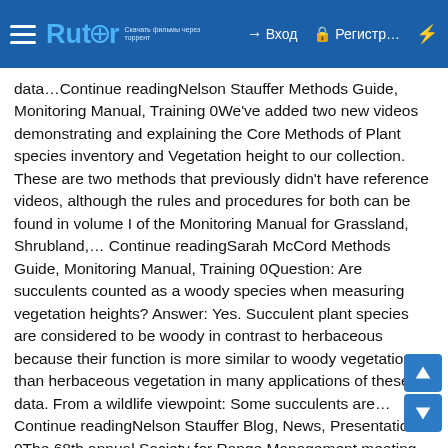Rutor — Вход  Регистр…
data…Continue readingNelson Stauffer Methods Guide, Monitoring Manual, Training 0We've added two new videos demonstrating and explaining the Core Methods of Plant species inventory and Vegetation height to our collection. These are two methods that previously didn't have reference videos, although the rules and procedures for both can be found in volume I of the Monitoring Manual for Grassland, Shrubland,… Continue readingSarah McCord Methods Guide, Monitoring Manual, Training 0Question: Are succulents counted as a woody species when measuring vegetation heights? Answer: Yes. Succulent plant species are considered to be woody in contrast to herbaceous because their function is more similar to woody vegetation than herbaceous vegetation in many applications of these data. From a wildlife viewpoint: Some succulents are… Continue readingNelson Stauffer Blog, News, Presentations 0The 68th annual Society for Range Management meeting held in the first week of February 2015 in Sacramento, California was a success for the Bureau of Land Management's Assessment, Inventory, and Monitoring (AIM) strategy. Staff from the BLM's